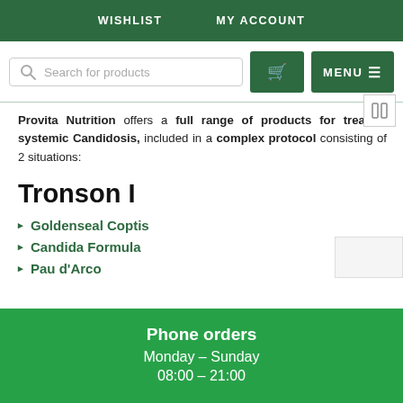WISHLIST    MY ACCOUNT
[Figure (screenshot): Search bar with cart and menu buttons]
Provita Nutrition offers a full range of products for treating systemic Candidosis, included in a complex protocol consisting of 2 situations:
Tronson I
Goldenseal Coptis
Candida Formula
Pau d'Arco
Phone orders
Monday – Sunday
08:00 – 21:00